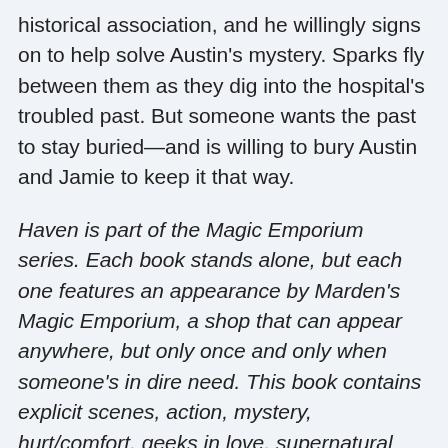historical association, and he willingly signs on to help solve Austin's mystery. Sparks fly between them as they dig into the hospital's troubled past. But someone wants the past to stay buried—and is willing to bury Austin and Jamie to keep it that way.
Haven is part of the Magic Emporium series. Each book stands alone, but each one features an appearance by Marden's Magic Emporium, a shop that can appear anywhere, but only once and only when someone's in dire need. This book contains explicit scenes, action, mystery, hurt/comfort, geeks in love, supernatural secrets, a brave historian and a lovelorn private detective, plus a guaranteed HEA. It is loosely connected to my Fox Hollow series.